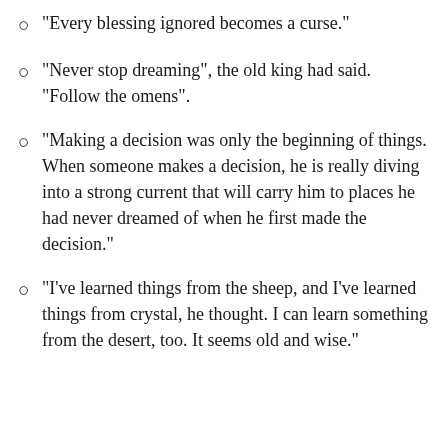"Every blessing ignored becomes a curse."
"Never stop dreaming", the old king had said. "Follow the omens".
"Making a decision was only the beginning of things. When someone makes a decision, he is really diving into a strong current that will carry him to places he had never dreamed of when he first made the decision."
"I've learned things from the sheep, and I've learned things from crystal, he thought. I can learn something from the desert, too. It seems old and wise."